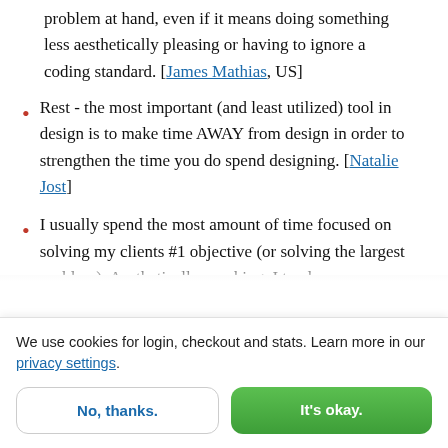problem at hand, even if it means doing something less aesthetically pleasing or having to ignore a coding standard. [James Mathias, US]
Rest - the most important (and least utilized) tool in design is to make time AWAY from design in order to strengthen the time you do spend designing. [Natalie Jost]
I usually spend the most amount of time focused on solving my clients #1 objective (or solving the largest problem). Aesthetically speaking, I tend
We use cookies for login, checkout and stats. Learn more in our privacy settings.